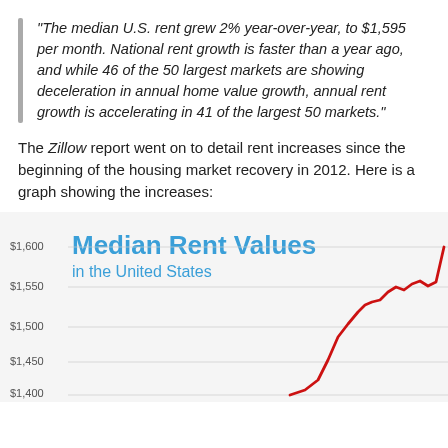“The median U.S. rent grew 2% year-over-year, to $1,595 per month. National rent growth is faster than a year ago, and while 46 of the 50 largest markets are showing deceleration in annual home value growth, annual rent growth is accelerating in 41 of the largest 50 markets.”
The Zillow report went on to detail rent increases since the beginning of the housing market recovery in 2012. Here is a graph showing the increases:
[Figure (continuous-plot): Line chart showing median rent values in the United States rising from approximately $1,400 in 2012 to $1,595 by the current date, with a steep rise from 2014 to 2016 and some fluctuation around $1,530-$1,560 before climbing to $1,595.]